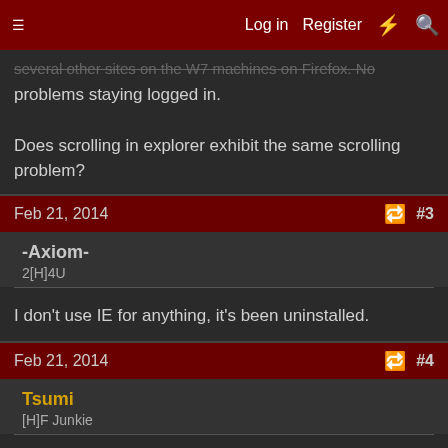Log in  Register  #  🔍
several other sites on the W7 machines on Firefox. No problems staying logged in.

Does scrolling in explorer exhibit the same scrolling problem?
Feb 21, 2014  #3
-Axiom-
2[H]4U
I don't use IE for anything, it's been uninstalled.
Feb 21, 2014  #4
Tsumi
[H]F Junkie
I'm talking about Windows explorer. Scroll through your files.